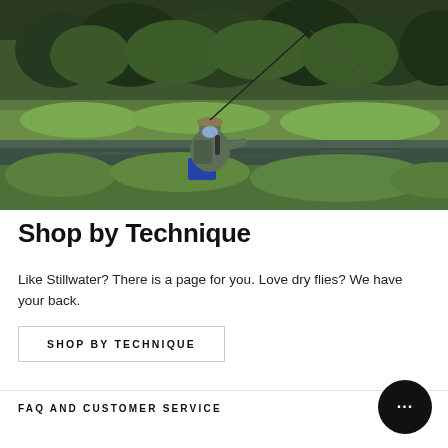[Figure (photo): A fly fisherman in camouflage gear with a fishing rod, sitting beside a calm lake or pond surrounded by tall green grass and a dense forest of pine and deciduous trees in the background.]
Shop by Technique
Like Stillwater? There is a page for you. Love dry flies? We have your back.
SHOP BY TECHNIQUE
FAQ AND CUSTOMER SERVICE